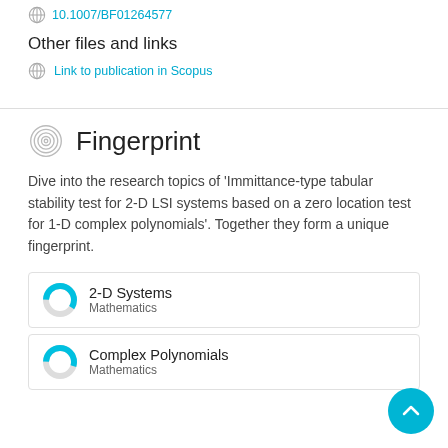10.1007/BF01264577
Other files and links
Link to publication in Scopus
Fingerprint
Dive into the research topics of 'Immittance-type tabular stability test for 2-D LSI systems based on a zero location test for 1-D complex polynomials'. Together they form a unique fingerprint.
2-D Systems
Mathematics
Complex Polynomials
Mathematics